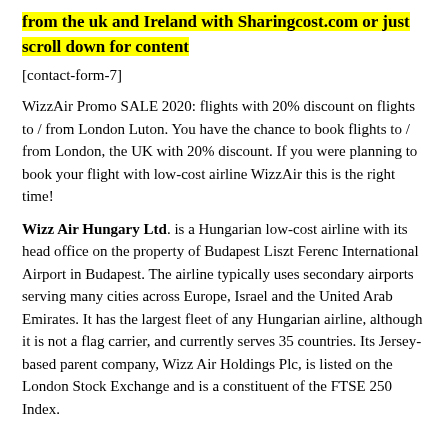from the uk and Ireland with Sharingcost.com or just scroll down for content
[contact-form-7]
WizzAir Promo SALE 2020: flights with 20% discount on flights to / from London Luton. You have the chance to book flights to / from London, the UK with 20% discount. If you were planning to book your flight with low-cost airline WizzAir this is the right time!
Wizz Air Hungary Ltd. is a Hungarian low-cost airline with its head office on the property of Budapest Liszt Ferenc International Airport in Budapest. The airline typically uses secondary airports serving many cities across Europe, Israel and the United Arab Emirates. It has the largest fleet of any Hungarian airline, although it is not a flag carrier, and currently serves 35 countries. Its Jersey-based parent company, Wizz Air Holdings Plc, is listed on the London Stock Exchange and is a constituent of the FTSE 250 Index.